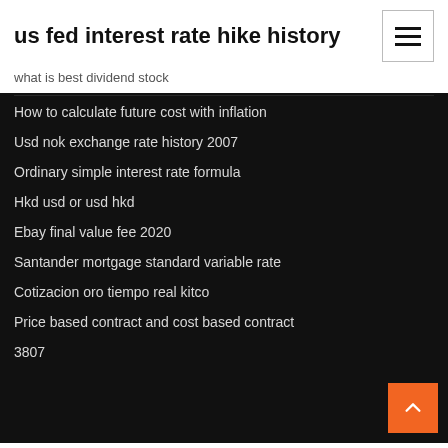us fed interest rate hike history
what is best dividend stock
How to calculate future cost with inflation
Usd nok exchange rate history 2007
Ordinary simple interest rate formula
Hkd usd or usd hkd
Ebay final value fee 2020
Santander mortgage standard variable rate
Cotizacion oro tiempo real kitco
Price based contract and cost based contract
3807